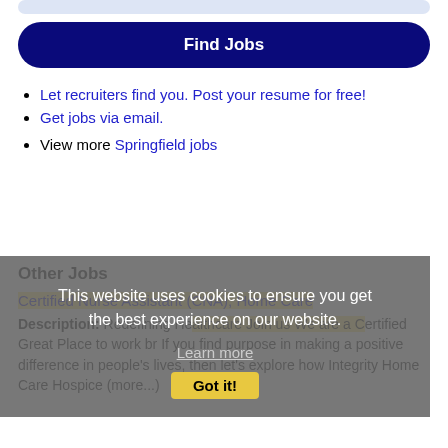[Figure (other): Top gray rounded bar (partial UI element)]
Find Jobs
Let recruiters find you. Post your resume for free!
Get jobs via email.
View more Springfield jobs
Other Jobs
Certified Nurse Assistant (CNA), Home Care
Description: Redefining Healthcare Join us We are a Certified Great Place to work br If you find purpose in making a positive difference in people's lives, then let's explore how Integrity Home Care Hospice (more...)
This website uses cookies to ensure you get the best experience on our website. Learn more Got it!